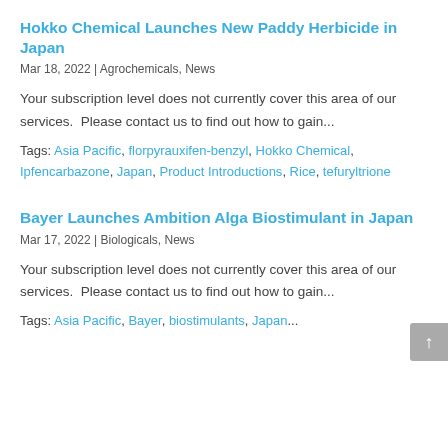Hokko Chemical Launches New Paddy Herbicide in Japan
Mar 18, 2022 | Agrochemicals, News
Your subscription level does not currently cover this area of our services.  Please contact us to find out how to gain...
Tags: Asia Pacific, florpyrauxifen-benzyl, Hokko Chemical, Ipfencarbazone, Japan, Product Introductions, Rice, tefuryltrione
Bayer Launches Ambition Alga Biostimulant in Japan
Mar 17, 2022 | Biologicals, News
Your subscription level does not currently cover this area of our services.  Please contact us to find out how to gain...
Tags: Asia Pacific, Bayer, biostimulants, Japan...